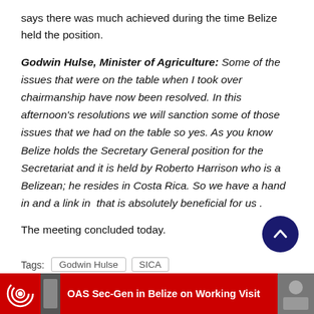says there was much achieved during the time Belize held the position.
Godwin Hulse, Minister of Agriculture: Some of the issues that were on the table when I took over chairmanship have now been resolved. In this afternoon's resolutions we will sanction some of those issues that we had on the table so yes. As you know Belize holds the Secretary General position for the Secretariat and it is held by Roberto Harrison who is a Belizean; he resides in Costa Rica. So we have a hand in and a link in that is absolutely beneficial for us .
The meeting concluded today.
Tags: Godwin Hulse  SICA
OAS Sec-Gen in Belize on Working Visit